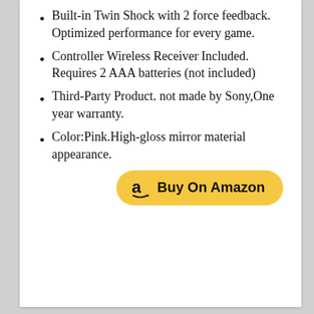Built-in Twin Shock with 2 force feedback. Optimized performance for every game.
Controller Wireless Receiver Included. Requires 2 AAA batteries (not included)
Third-Party Product. not made by Sony,One year warranty.
Color:Pink.High-gloss mirror material appearance.